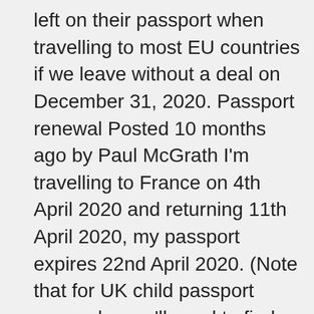left on their passport when travelling to most EU countries if we leave without a deal on December 31, 2020. Passport renewal Posted 10 months ago by Paul McGrath I'm travelling to France on 4th April 2020 and returning 11th April 2020, my passport expires 22nd April 2020. (Note that for UK child passport renewals, you'll need to find a local counter-signatory – someone of standing within the community, who has known both parent and child for two years or more – to sign to confirm the identity of said child. French oyster and foie-gras producers hope for festive sales, New bac exams in France cut over Covid-19, How